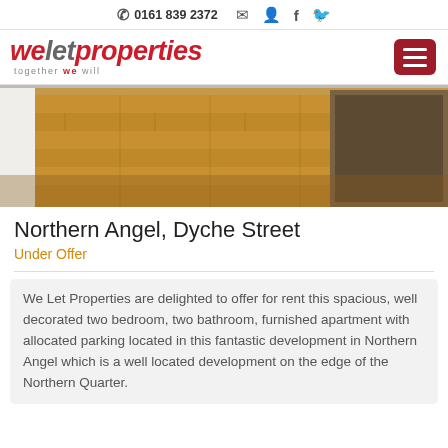✆ 0161 839 2372
[Figure (logo): We Let Properties logo with tagline 'together we will']
[Figure (photo): Interior photo of a property showing wooden laminate flooring and a room corner]
Northern Angel, Dyche Street
Under Offer
We Let Properties are delighted to offer for rent this spacious, well decorated two bedroom, two bathroom, furnished apartment with allocated parking located in this fantastic development in Northern Angel which is a well located development on the edge of the Northern Quarter.